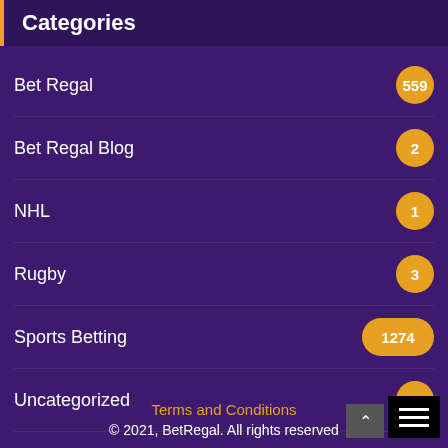Categories
Bet Regal 559
Bet Regal Blog 2
NHL 1
Rugby 3
Sports Betting 1274
Uncategorized 29
Terms and Conditions
© 2021, BetRegal. All rights reserved